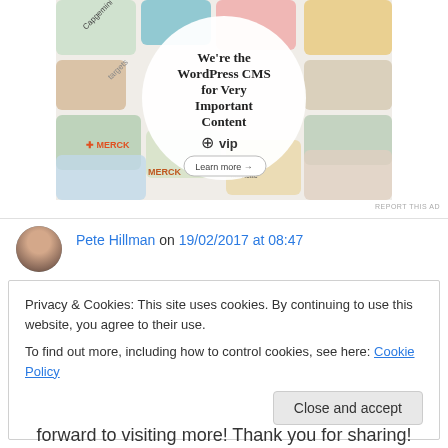[Figure (screenshot): WordPress VIP advertisement banner showing 'We're the WordPress CMS for Very Important Content' with WP VIP logo and 'Learn more' button, surrounded by colorful content tiles from various brands including Merck, Hachette, etc.]
REPORT THIS AD
Pete Hillman on 19/02/2017 at 08:47
Privacy & Cookies: This site uses cookies. By continuing to use this website, you agree to their use.
To find out more, including how to control cookies, see here: Cookie Policy
Close and accept
forward to visiting more! Thank you for sharing!